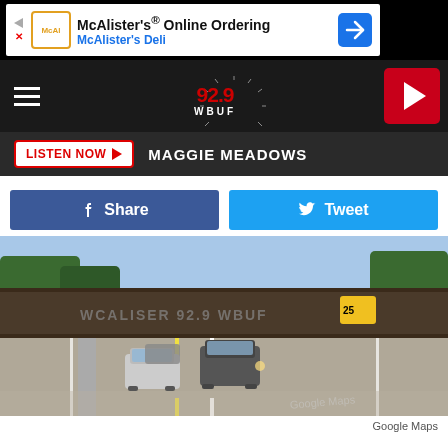[Figure (screenshot): McAlister's Online Ordering advertisement banner with logo, text, and navigation arrow icon]
[Figure (screenshot): 92.9 WBUF radio station navigation bar with hamburger menu, logo, and red play button]
LISTEN NOW  MAGGIE MEADOWS
[Figure (screenshot): Facebook Share and Twitter Tweet social sharing buttons]
[Figure (photo): Google Maps street-level photo of a highway with cars passing under a railroad overpass bridge]
Google Maps